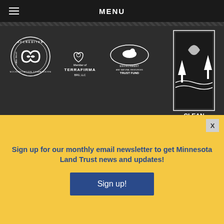MENU
[Figure (logo): Accredited Land Trust Accreditation Commission circular logo in white]
[Figure (logo): Member of TerraFirma BRG LLC logo in white]
[Figure (logo): Environment and Natural Resources Trust Fund logo with loon]
[Figure (logo): Clean Water Land & Legacy Amendment logo]
Click here for more information
Privacy Policy | Charitable Solicitation Disclosures
Sign up for our monthly email newsletter to get Minnesota Land Trust news and updates!
Sign up!